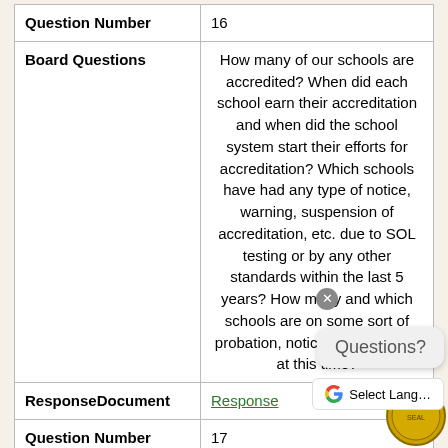| Question Number | 16 |
| --- | --- |
| Board Questions | How many of our schools are accredited? When did each school earn their accreditation and when did the school system start their efforts for accreditation? Which schools have had any type of notice, warning, suspension of accreditation, etc. due to SOL testing or by any other standards within the last 5 years? How many and which schools are on some sort of probation, notice, warning, etc. at this time? |
| ResponseDocument | Response |
| Question Number | 17 |
| Board Questions | Please provide ranking of our schools for the last 5 years all other schools within the Commonwealth of Virginia, and please provide each schools SOL t… data for the last 3 years (eleme… high school). Are we maintaining, improving, |